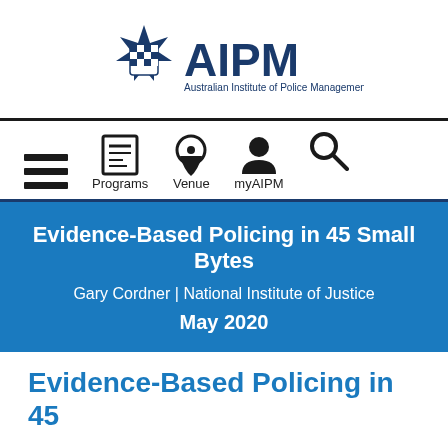[Figure (logo): AIPM Australian Institute of Police Management logo with star badge emblem and large AIPM text]
[Figure (infographic): Navigation bar with hamburger menu icon, Programs (newspaper icon), Venue (map pin icon), myAIPM (person icon), and search (magnifying glass icon)]
Evidence-Based Policing in 45 Small Bytes
Gary Cordner | National Institute of Justice
May 2020
Evidence-Based Policing in 45